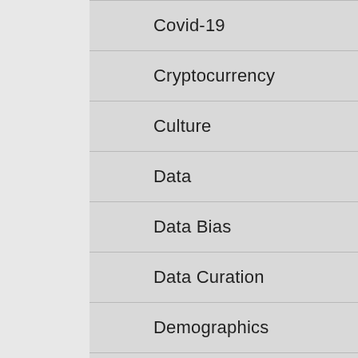Covid-19
Cryptocurrency
Culture
Data
Data Bias
Data Curation
Demographics
Hispanic
Intel
Linguistics